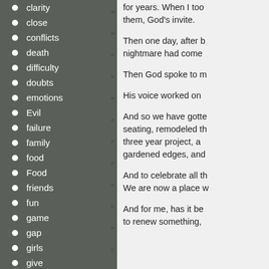clarity
close
conflicts
death
difficulty
doubts
emotions
Evil
failure
family
food
Food
friends
fun
game
gap
girls
give
god
goodness
for years. When I too them, God's invite.

Then one day, after b nightmare had come

Then God spoke to m

His voice worked on

And so we have gotte seating, remodeled th three year project, a gardened edges, and

And to celebrate all th We are now a place w

And for me, has it be to renew something,